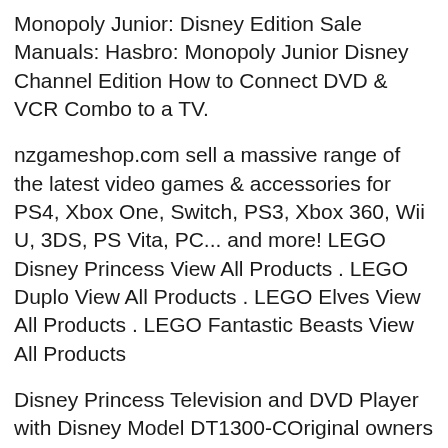Monopoly Junior: Disney Edition Sale Manuals: Hasbro: Monopoly Junior Disney Channel Edition How to Connect DVD & VCR Combo to a TV.
nzgameshop.com sell a massive range of the latest video games & accessories for PS4, Xbox One, Switch, PS3, Xbox 360, Wii U, 3DS, PS Vita, PC... and more! LEGO Disney Princess View All Products . LEGO Duplo View All Products . LEGO Elves View All Products . LEGO Fantastic Beasts View All Products
Disney Princess Television and DVD Player with Disney Model DT1300-COriginal owners manual Pink Disney Princess 13" TV Television DVD VHS